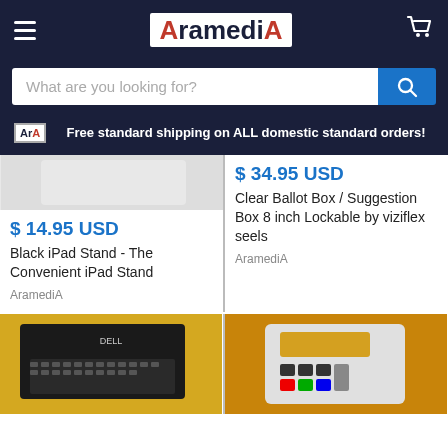AramediA
What are you looking for?
Free standard standard shipping on ALL domestic standard orders!
$ 14.95 USD
Black iPad Stand - The Convenient iPad Stand
AramediA
$ 34.95 USD
Clear Ballot Box / Suggestion Box 8 inch Lockable by viziflex seels
AramediA